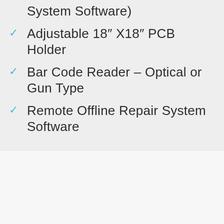System Software)
Adjustable 18" X18" PCB Holder
Bar Code Reader - Optical or Gun Type
Remote Offline Repair System Software